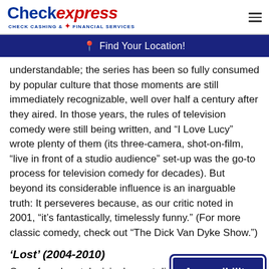Check express CHECK CASHING & FINANCIAL SERVICES
Find Your Location!
understandable; the series has been so fully consumed by popular culture that those moments are still immediately recognizable, well over half a century after they aired. In those years, the rules of television comedy were still being written, and “I Love Lucy” wrote plenty of them (its three-camera, shot-on-film, “live in front of a studio audience” set-up was the go-to process for television comedy for decades). But beyond its considerable influence is an inarguable truth: It perseveres because, as our critic noted in 2001, “it’s fantastically, timelessly funny.” (For more classic comedy, check out “The Dick Van Dyke Show.”)
‘Lost’ (2004-2010)
One of modern television’s most discussed and dissected, analyzed and agonized, loved and loathed programs is this six-